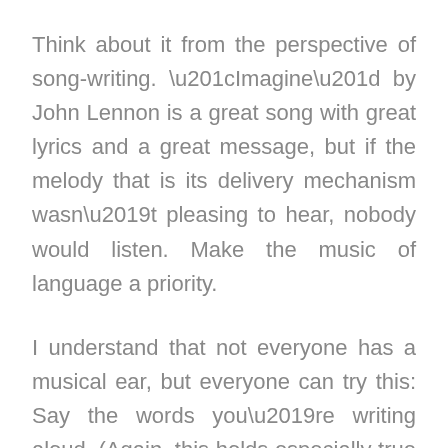Think about it from the perspective of song-writing. “Imagine” by John Lennon is a great song with great lyrics and a great message, but if the melody that is its delivery mechanism wasn’t pleasing to hear, nobody would listen. Make the music of language a priority.
I understand that not everyone has a musical ear, but everyone can try this: Say the words you’re writing aloud. (Again, this holds especially true for dialogue.) Is it melodious? Does it feel comfortable in your mouth? Would you say that shit? Or is it a ham-fisted and